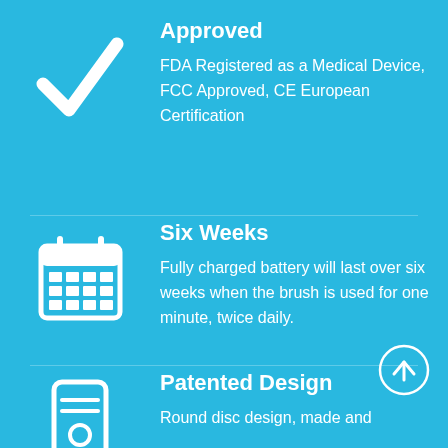[Figure (illustration): White checkmark icon on blue background]
Approved
FDA Registered as a Medical Device, FCC Approved, CE European Certification
[Figure (illustration): White calendar icon on blue background]
Six Weeks
Fully charged battery will last over six weeks when the brush is used for one minute, twice daily.
[Figure (illustration): White device/remote icon on blue background]
Patented Design
Round disc design, made and
[Figure (illustration): White circle with upward arrow button]